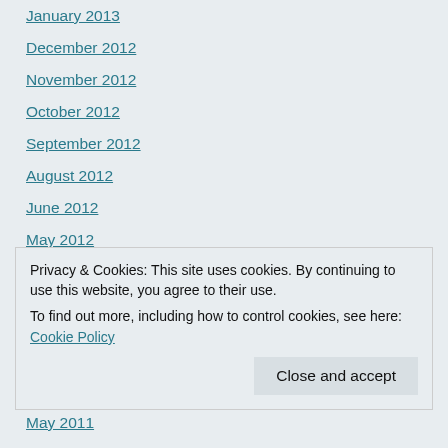January 2013
December 2012
November 2012
October 2012
September 2012
August 2012
June 2012
May 2012
April 2012
March 2012
February 2012
January 2012
December 2011
Privacy & Cookies: This site uses cookies. By continuing to use this website, you agree to their use. To find out more, including how to control cookies, see here: Cookie Policy
May 2011